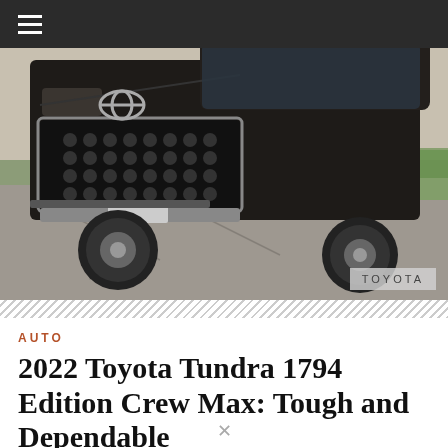[Figure (photo): Front view of a dark-colored 2022 Toyota Tundra 1794 Edition Crew Max truck parked on a cracked asphalt surface with green grass in the background. A TOYOTA watermark appears in the lower right corner.]
AUTO
2022 Toyota Tundra 1794 Edition Crew Max: Tough and Dependable
By Durbl Caussev | May 19, 2022